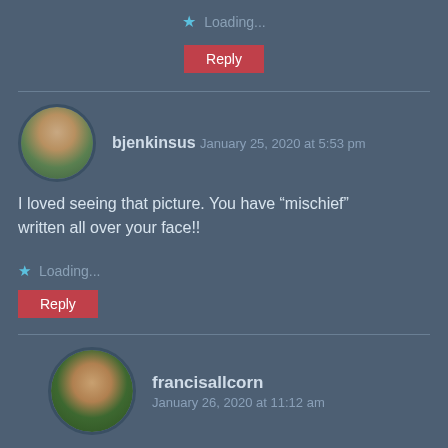Loading...
Reply
bjenkinsus   January 25, 2020 at 5:53 pm
I loved seeing that picture. You have “mischief” written all over your face!!
Loading...
Reply
francisallcorn
January 26, 2020 at 11:12 am
Probably accounts for why I got into